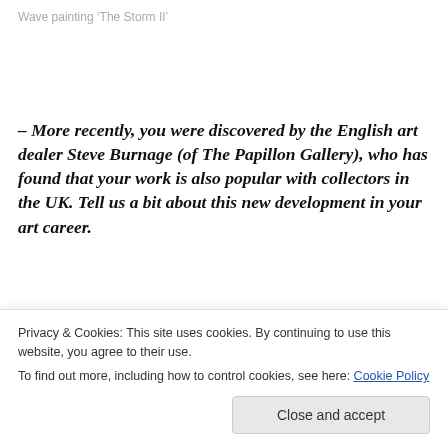Wave painting 'The Storm II'
– More recently, you were discovered by the English art dealer Steve Burnage (of The Papillon Gallery), who has found that your work is also popular with collectors in the UK. Tell us a bit about this new development in your art career.
As I mentioned earlier, everything happened in stages...
subject, technique and quality of my work could be
Privacy & Cookies: This site uses cookies. By continuing to use this website, you agree to their use.
To find out more, including how to control cookies, see here: Cookie Policy